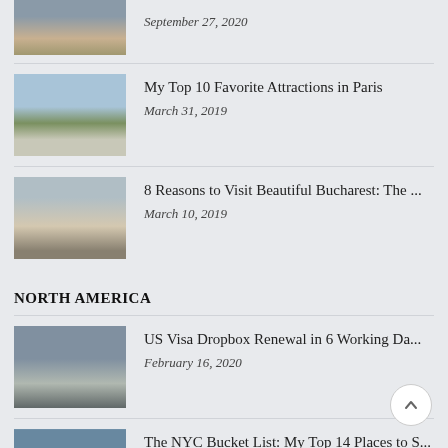September 27, 2020
My Top 10 Favorite Attractions in Paris
March 31, 2019
8 Reasons to Visit Beautiful Bucharest: The ...
March 10, 2019
NORTH AMERICA
US Visa Dropbox Renewal in 6 Working Da...
February 16, 2020
The NYC Bucket List: My Top 14 Places to S...
March 3, 2019